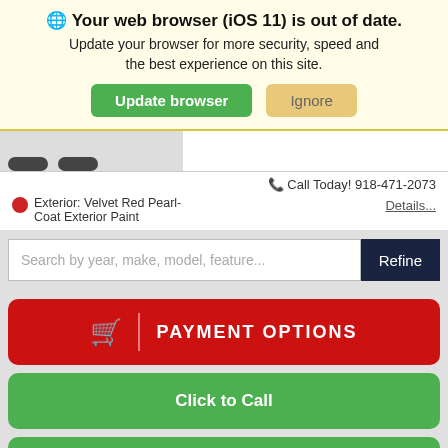🌐 Your web browser (iOS 11) is out of date. Update your browser for more security, speed and the best experience on this site.
Update browser
Ignore
[Figure (photo): Partial view of a car (wheels visible) at top left of page]
📞 Call Today! 918-471-2073
Exterior: Velvet Red Pearl-Coat Exterior Paint
Details...
Search by year, make, model, feature...
Refine
🛒 | PAYMENT OPTIONS
Click to Call
Calculate Your Payment
Value My Trade